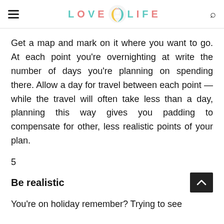LOVE LIFE
Get a map and mark on it where you want to go. At each point you're overnighting at write the number of days you're planning on spending there. Allow a day for travel between each point — while the travel will often take less than a day, planning this way gives you padding to compensate for other, less realistic points of your plan.
5
Be realistic
You're on holiday remember? Trying to see